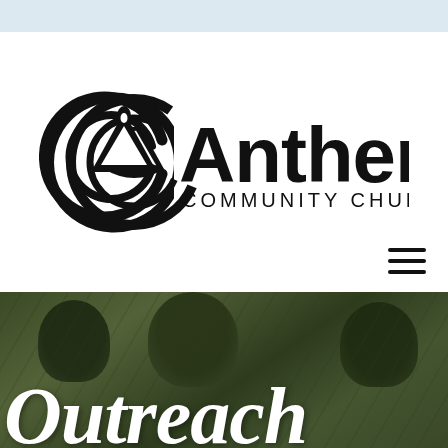[Figure (logo): Anthem Community Church logo — circular C-shaped emblem with triangle/drop shape inside, beside the text 'Anthem' in large sans-serif and 'COMMUNITY CHURCH' in smaller caps underneath]
[Figure (photo): Photo of children huddled together outdoors with greenery in background, overlaid with large white script text reading 'Outreach']
Outreach